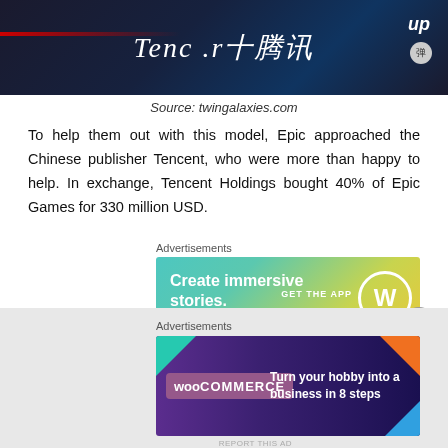[Figure (photo): Tencent logo/branding image with dark background, Chinese characters and 'Tenc.r' text in white italic, 'up' text and circular icon in top right, red light streak on left]
Source: twingalaxies.com
To help them out with this model, Epic approached the Chinese publisher Tencent, who were more than happy to help. In exchange, Tencent Holdings bought 40% of Epic Games for 330 million USD.
Advertisements
[Figure (screenshot): Advertisement banner: teal/green gradient background with white text 'Create immersive stories.' on left, 'GET THE APP' with WordPress logo circle on right]
This decision did not sit well with some of the executive members in Epic and lead to the departure of several key executives, including Cliff Bleszinski, who has been an important figure in the company since 1992.
Advertisements
[Figure (screenshot): Advertisement banner: dark purple background with WooCommerce logo on left, colorful geometric shapes (teal, orange, blue), white text 'Turn your hobby into a business in 8 steps' on right]